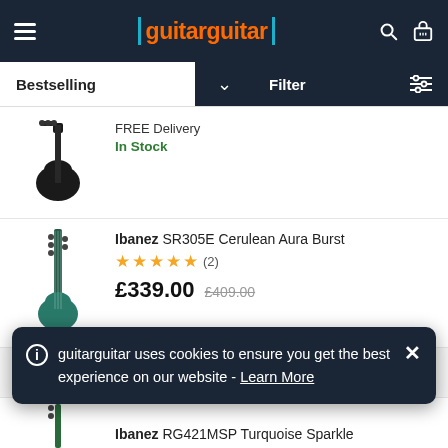guitarguitar
Bestselling | Filter
FREE Delivery
In Stock
Ibanez SR305E Cerulean Aura Burst
★★★★★ (2)
£339.00  £409.00
guitarguitar uses cookies to ensure you get the best experience on our website - Learn More
Ibanez RG421MSP Turquoise Sparkle